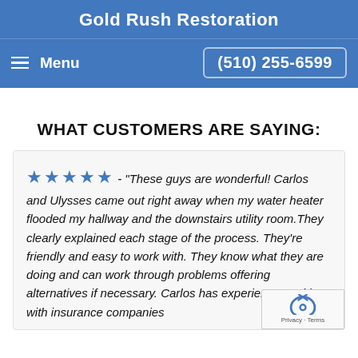Gold Rush Restoration
Menu   (510) 255-6599
WHAT CUSTOMERS ARE SAYING:
★★★★★ - "These guys are wonderful! Carlos and Ulysses came out right away when my water heater flooded my hallway and the downstairs utility room.They clearly explained each stage of the process. They're friendly and easy to work with. They know what they are doing and can work through problems offering alternatives if necessary. Carlos has experience working with insurance companies